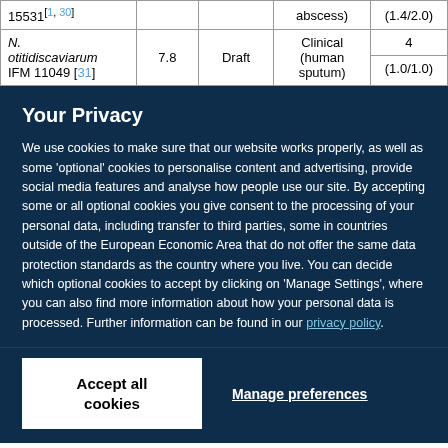| Strain | Size (Mb) | Assembly status | Source | Genes (CDS) / Predicted secreted proteins |
| --- | --- | --- | --- | --- |
| 15531 [1, 30] |  |  | abscess) | (1.4/2.0) |
| N. otitidiscaviarum IFM 11049 [31] | 7.8 | Draft | Clinical (human sputum) | 4 / (1.0/1.0) |
Your Privacy
We use cookies to make sure that our website works properly, as well as some 'optional' cookies to personalise content and advertising, provide social media features and analyse how people use our site. By accepting some or all optional cookies you give consent to the processing of your personal data, including transfer to third parties, some in countries outside of the European Economic Area that do not offer the same data protection standards as the country where you live. You can decide which optional cookies to accept by clicking on 'Manage Settings', where you can also find more information about how your personal data is processed. Further information can be found in our privacy policy.